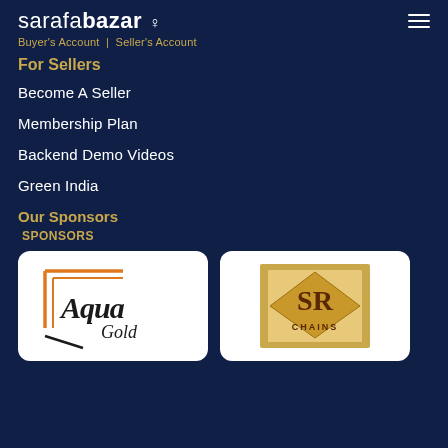sarafabazar ♀
Buyer's Account  |  Seller's Account
For Sellers
Become A Seller
Membership Plan
Backend Demo Videos
Green India
Our Sponsors
SPONSORS
[Figure (logo): Aqua Gold logo with orange geometric bracket and italic script text]
[Figure (logo): SR Chains logo with gold diamond shape and decorative letters SR on a beige/gold background]